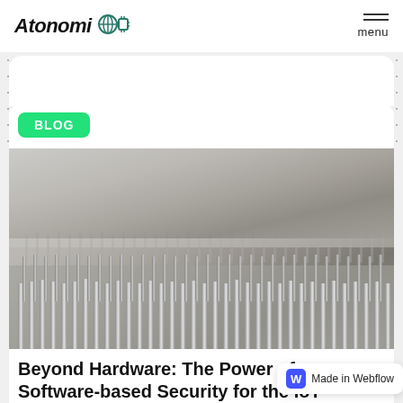Atonomi — menu
BLOG
[Figure (photo): Close-up macro photograph of metal IC chip pins or connector pins arranged in rows, silver metallic texture, blurred background]
Beyond Hardware: The Power of Software-based Security for the IoT